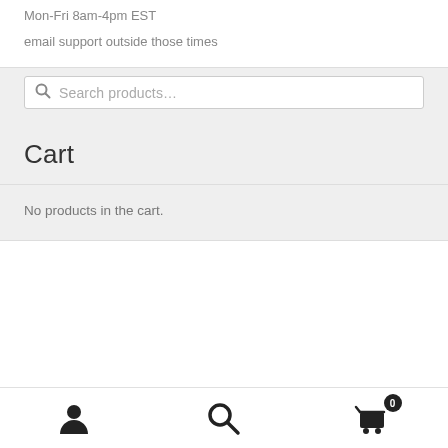Mon-Fri 8am-4pm EST
email support outside those times
Search products...
Cart
No products in the cart.
[Figure (infographic): Bottom navigation bar with user/account icon, search icon, and shopping cart icon with badge showing 0]